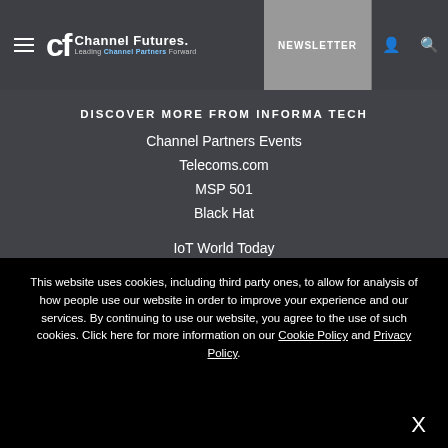Channel Futures — Leading Channel Partners Forward | NEWSLETTER
DISCOVER MORE FROM INFORMA TECH
Channel Partners Events
Telecoms.com
MSP 501
Black Hat
IoT World Today
This website uses cookies, including third party ones, to allow for analysis of how people use our website in order to improve your experience and our services. By continuing to use our website, you agree to the use of such cookies. Click here for more information on our Cookie Policy and Privacy Policy.